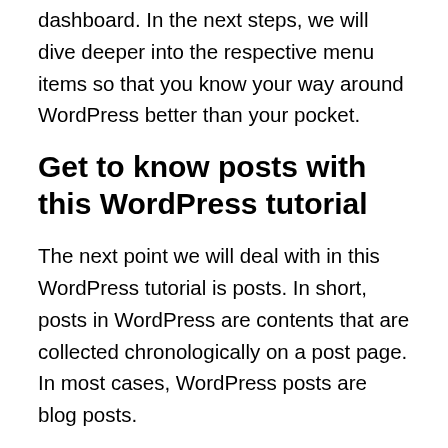dashboard. In the next steps, we will dive deeper into the respective menu items so that you know your way around WordPress better than your pocket.
Get to know posts with this WordPress tutorial
The next point we will deal with in this WordPress tutorial is posts. In short, posts in WordPress are contents that are collected chronologically on a post page. In most cases, WordPress posts are blog posts.
So-called tags or keywords help to group the posts according to thematically relevant